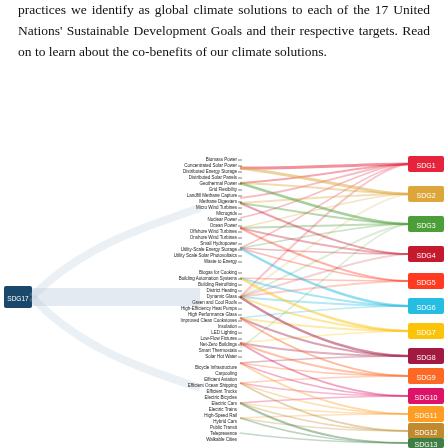practices we identify as global climate solutions to each of the 17 United Nations' Sustainable Development Goals and their respective targets. Read on to learn about the co-benefits of our climate solutions.
[Figure (other): Sankey/chord-style diagram mapping global climate solutions (left side: individual solutions listed vertically, e.g. Biomass Power, Concentrated Solar, Distributed Energy Storage, etc.) to SDG1 through SDG13+ (right side: colored bands labeled SDG1 through SDG13 in red, yellow, green, teal, red, cyan, yellow, pink, orange, dark, orange, green, green). A large blue node labeled SDG17 sits on the far left, connecting to all solutions. Colored flowing ribbons connect each solution to multiple SDGs on the right.]